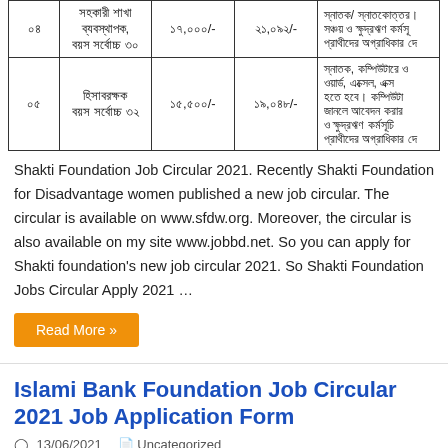|  | পদের নাম | মূল বেতন | মোট বেতন | যোগ্যতা |
| --- | --- | --- | --- | --- |
| ০৪ | সহকারী শাখা ব্যবস্থাপক, বয়স সর্বোচ্চ ৩০ | ১৭,০০০/- | ২১,০৯২/- | স্নাতক/ স্নাতকোত্তর। সঞ্চয় ও ক্ষুদ্রঋণ কর্মসূচিতে প্রাথীদের অগ্রাধিকার দে |
| ০৫ | হিসাবরক্ষক বয়স সর্বোচ্চ ৩২ | ১৫,৫০০/- | ১৯,০৪৮/- | স্নাতক, কম্পিউটারে ওয়ার্ড, এক্সেল, এক্সেস হতে হবে। কম্পিউটা জানলে আবেদন করার ও ক্ষুদ্রঋণ কর্মসূচিতে প্রাথীদের অগ্রাধিকার দে |
Shakti Foundation Job Circular 2021. Recently Shakti Foundation for Disadvantage women published a new job circular. The circular is available on www.sfdw.org. Moreover, the circular is also available on my site www.jobbd.net. So you can apply for Shakti foundation's new job circular 2021. So Shakti Foundation Jobs Circular Apply 2021 …
Read More »
Islami Bank Foundation Job Circular 2021 Job Application Form
13/06/2021   Uncategorized
[Figure (photo): Teal/blue banner image for Islami Bank Foundation, with white circular logo area and red Bengali text]